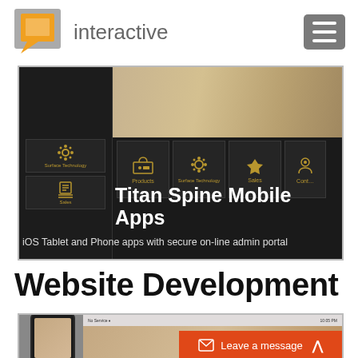interactive
[Figure (screenshot): Titan Spine Mobile Apps iOS Tablet and Phone apps with secure on-line admin portal screenshot showing dark-themed app with icon tiles]
Titan Spine Mobile Apps
iOS Tablet and Phone apps with secure on-line admin portal
Website Development
[Figure (screenshot): Bottom screenshot showing a phone device and laptop with sandy/beach background and Leave a message orange button bar]